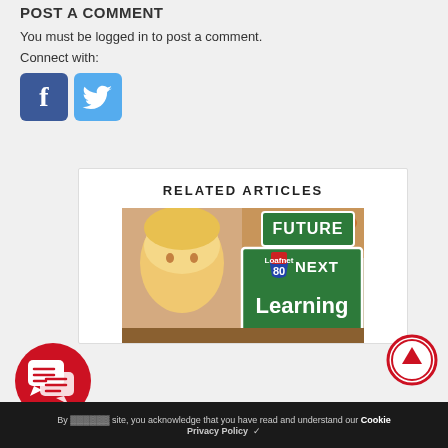POST A COMMENT
You must be logged in to post a comment.
Connect with:
[Figure (logo): Facebook and Twitter social login buttons]
RELATED ARTICLES
[Figure (photo): Road sign showing FUTURE / NEXT 80 / Learning with a child in background]
[Figure (illustration): Red scroll-up button with upward arrow]
[Figure (illustration): Red chat bubbles icon]
By using this site, you acknowledge that you have read and understand our Cookie
Privacy Policy ✓